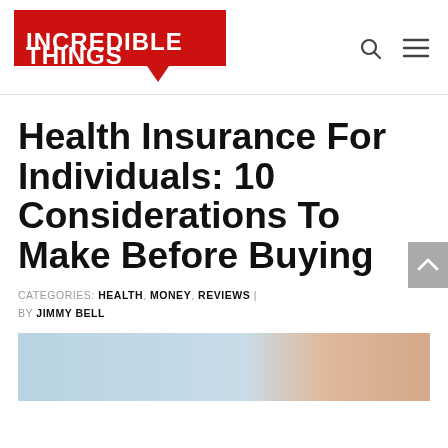INCREDIBLE THINGS
Health Insurance For Individuals: 10 Considerations To Make Before Buying
CATEGORIES: HEALTH, MONEY, REVIEWS | BY JIMMY BELL
[Figure (photo): Close-up photo of a person's face against a light blue background]